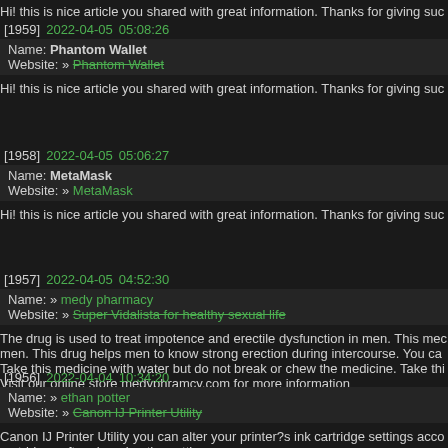Hi! this is nice article you shared with great information. Thanks for giving suc
[1959] 2022-04-05 05:08:26 | Name: Phantom Wallet | Website: » Phantom Wallet | Hi! this is nice article you shared with great information. Thanks for giving suc
[1958] 2022-04-05 05:06:27 | Name: MetaMask | Website: » MetaMask | Hi! this is nice article you shared with great information. Thanks for giving suc
[1957] 2022-04-05 04:52:30 | Name: » medy pharmacy | Website: » Super Vidalista for healthy sexual life | The drug is used to treat impotence and erectile dysfunction in men. This mec men. This drug helps men to know strong erection during intercourse. You ca Take this medicine with water but do not break or chew the medicine. Take thi Visit our online store medyphramcy.com for more information
[1956] 2022-04-04 10:34:20 | Name: » ethan potter | Website: » Canon IJ Printer Utility | Canon IJ Printer Utility you can alter your printer?s ink cartridge settings acco cartridges after changing the settings.